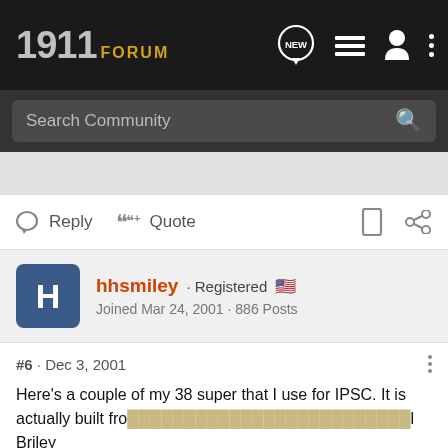1911 FORUM
Search Community
Reply  Quote
hhsmiley · Registered
Joined Mar 24, 2001 · 886 Posts
#6 · Dec 3, 2001
Here's a couple of my 38 super that I use for IPSC. It is actually built fro... Briley plate ma... eat as an oper... r stee...
[Figure (screenshot): Bass Pro Shops Fall Hunting Classic advertisement banner: Save up to 30%, with Shop Now button]